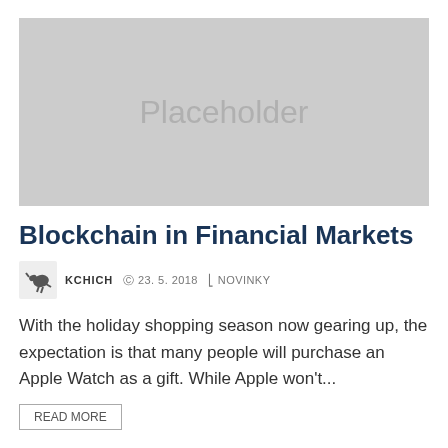[Figure (photo): Placeholder image — large grey rectangle with text 'Placeholder' in the center]
Blockchain in Financial Markets
KCHICH  © 23. 5. 2018  ⊟ NOVINKY
With the holiday shopping season now gearing up, the expectation is that many people will purchase an Apple Watch as a gift. While Apple won't...